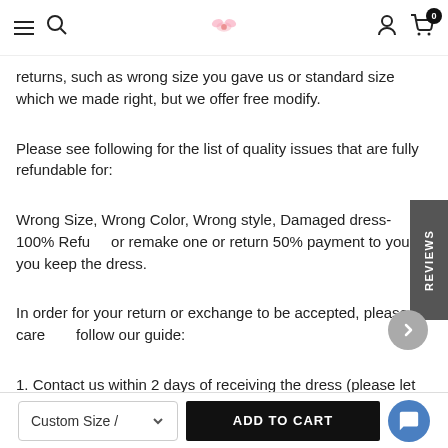Navigation bar with menu, search, logo, user, and cart icons
returns, such as wrong size you gave us or standard size which we made right, but we offer free modify.
Please see following for the list of quality issues that are fully refundable for:
Wrong Size, Wrong Color, Wrong style, Damaged dress- 100% Refund or remake one or return 50% payment to you, you keep the dress.
In order for your return or exchange to be accepted, please carefully follow our guide:
1. Contact us within 2 days of receiving the dress (please let us know if
Custom Size / [dropdown]   ADD TO CART   [chat button]